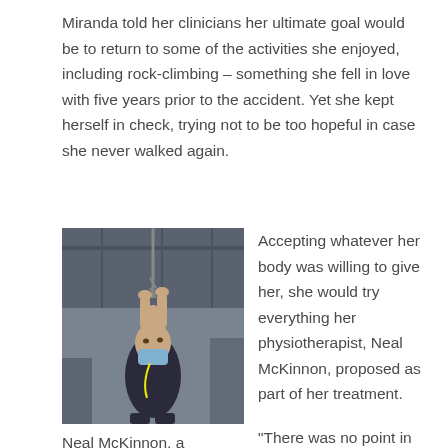Miranda told her clinicians her ultimate goal would be to return to some of the activities she enjoyed, including rock-climbing – something she fell in love with five years prior to the accident. Yet she kept herself in check, trying not to be too hopeful in case she never walked again.
[Figure (photo): A man in a dark shirt and blue face mask pulling on chains or ropes in a rehabilitation gym setting]
Neal McKinnon, a
Accepting whatever her body was willing to give her, she would try everything her physiotherapist, Neal McKinnon, proposed as part of her treatment.
"There was no point in NOT trying it," Miranda recalls. "Eventually I started to see little gains."